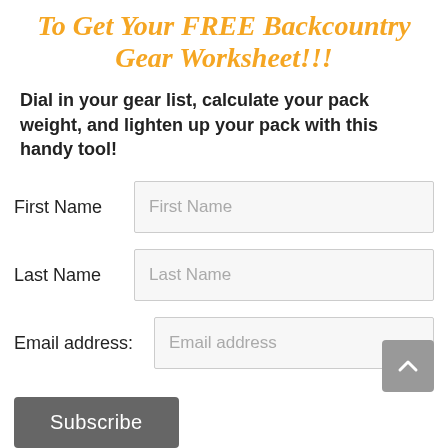To Get Your FREE Backcountry Gear Worksheet!!!
Dial in your gear list, calculate your pack weight, and lighten up your pack with this handy tool!
First Name [form field]
Last Name [form field]
Email address: [form field]
Subscribe [button]